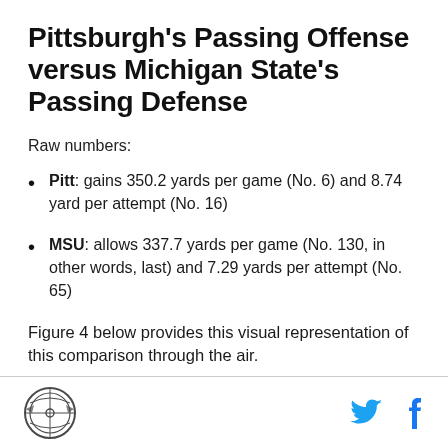Pittsburgh's Passing Offense versus Michigan State's Passing Defense
Raw numbers:
Pitt: gains 350.2 yards per game (No. 6) and 8.74 yard per attempt (No. 16)
MSU: allows 337.7 yards per game (No. 130, in other words, last) and 7.29 yards per attempt (No. 65)
Figure 4 below provides this visual representation of this comparison through the air.
Logo and social media icons (Twitter, Facebook)